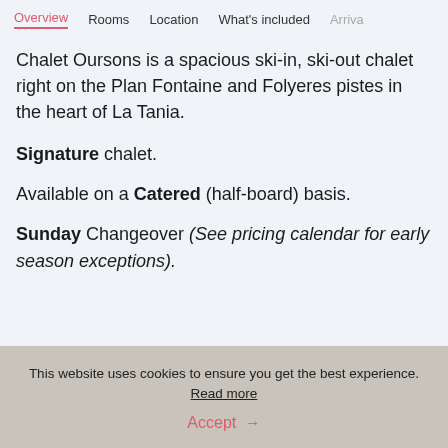Overview  Rooms  Location  What's included  Arriva
Chalet Oursons is a spacious ski-in, ski-out chalet right on the Plan Fontaine and Folyeres pistes in the heart of La Tania.
Signature chalet.
Available on a Catered (half-board) basis.
Sunday Changeover (See pricing calendar for early season exceptions).
This website uses cookies to ensure you get the best experience. Read more
Accept →